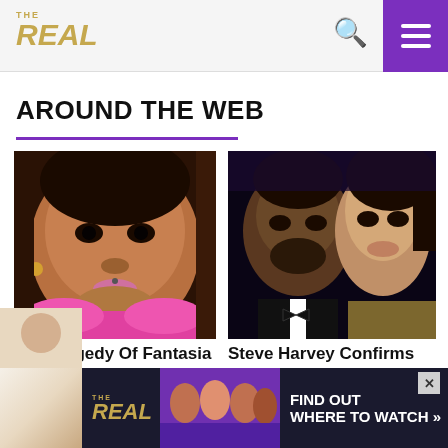THE REAL
AROUND THE WEB
[Figure (photo): Close-up photo of Fantasia Barrino, a Black woman with short dark hair, wearing makeup and a pink ruffled top]
The Tragedy Of Fantasia Barrino Is Just Sad
[Figure (photo): Photo of two people side by side: Michael B. Jordan in a tuxedo and Lori Harvey in an elegant outfit]
Steve Harvey Confirms What We Suspected About Lori & Michael
[Figure (photo): Advertisement banner for The Real TV show with hosts and text FIND OUT WHERE TO WATCH]